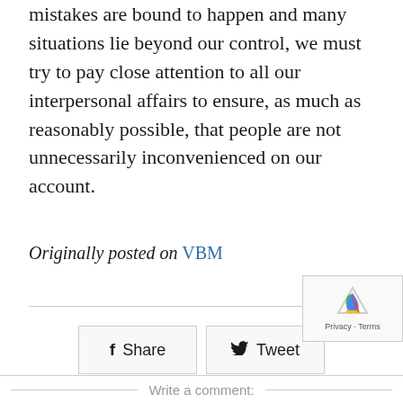mistakes are bound to happen and many situations lie beyond our control, we must try to pay close attention to all our interpersonal affairs to ensure, as much as reasonably possible, that people are not unnecessarily inconvenienced on our account.
Originally posted on VBM
[Figure (other): Share and Tweet social media buttons, and a reCAPTCHA widget]
Write a comment: